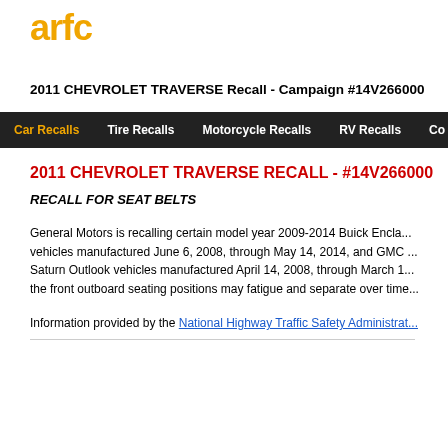[Figure (logo): ARFC logo in orange/gold bold text]
2011 CHEVROLET TRAVERSE Recall - Campaign #14V266000
Car Recalls | Tire Recalls | Motorcycle Recalls | RV Recalls | Co...
2011 CHEVROLET TRAVERSE RECALL - #14V266000
RECALL FOR SEAT BELTS
General Motors is recalling certain model year 2009-2014 Buick Enclave vehicles manufactured June 6, 2008, through May 14, 2014, and GMC Acadia, Saturn Outlook vehicles manufactured April 14, 2008, through March 18... the front outboard seating positions may fatigue and separate over time...
Information provided by the National Highway Traffic Safety Administrat...